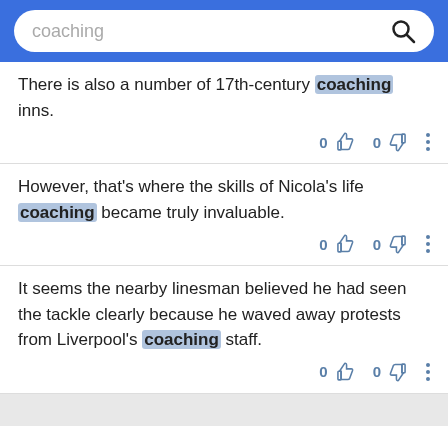[Figure (screenshot): Search bar with blue background showing the query 'coaching' and a magnifying glass icon]
There is also a number of 17th-century coaching inns.
However, that's where the skills of Nicola's life coaching became truly invaluable.
It seems the nearby linesman believed he had seen the tackle clearly because he waved away protests from Liverpool's coaching staff.